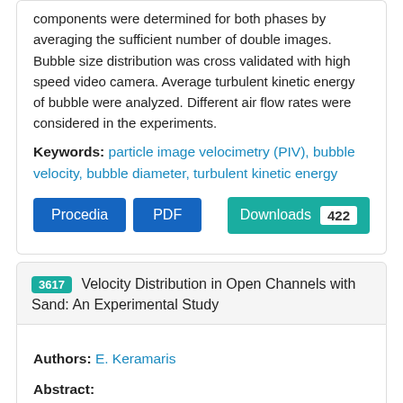components were determined for both phases by averaging the sufficient number of double images. Bubble size distribution was cross validated with high speed video camera. Average turbulent kinetic energy of bubble were analyzed. Different air flow rates were considered in the experiments.
Keywords: particle image velocimetry (PIV), bubble velocity, bubble diameter, turbulent kinetic energy
Procedia  PDF  Downloads 422
3617 Velocity Distribution in Open Channels with Sand: An Experimental Study
Authors: E. Keramaris
Abstract:
In this study, an experimental investigation was done and...